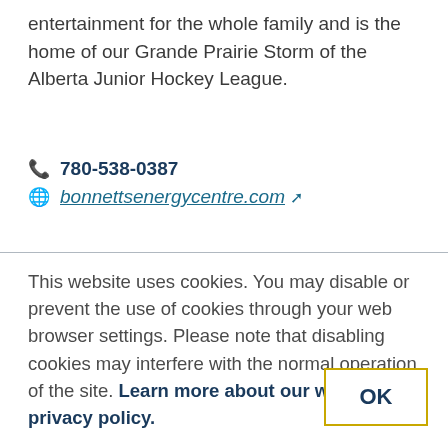entertainment for the whole family and is the home of our Grande Prairie Storm of the Alberta Junior Hockey League.
780-538-0387
bonnettsenergycentre.com
This website uses cookies. You may disable or prevent the use of cookies through your web browser settings. Please note that disabling cookies may interfere with the normal operation of the site. Learn more about our website privacy policy.